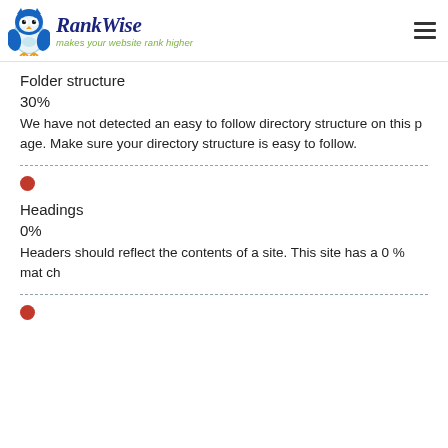RankWise — makes your website rank higher
[Figure (logo): RankWise logo with owl icon and italic brand name, tagline 'makes your website rank higher' in green]
● red dot bullet
Folder structure
30%
We have not detected an easy to follow directory structure on this page. Make sure your directory structure is easy to follow.
● red dot bullet
Headings
0%
Headers should reflect the contents of a site. This site has a 0 % match
● red dot bullet